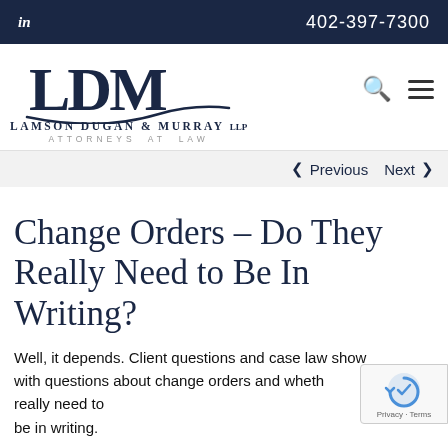in  402-397-7300
[Figure (logo): LDM logo with swoosh, Lamson Dugan & Murray LLP, Attorneys at Law]
< Previous   Next >
Change Orders – Do They Really Need to Be In Writing?
Well, it depends. Client questions and case law show that with questions about change orders and whether they really need to be in writing.